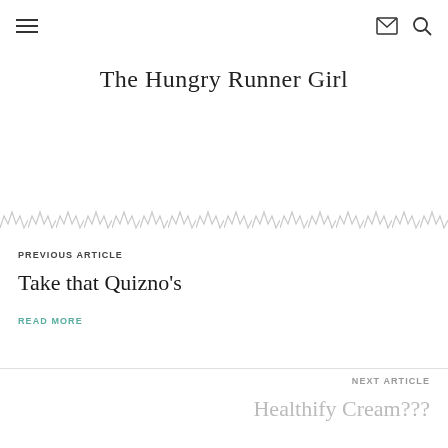☰  ✉  🔍
The Hungry Runner Girl
[Figure (illustration): Decorative zigzag/chevron repeating pattern divider in grey]
PREVIOUS ARTICLE
Take that Quizno's
READ MORE
NEXT ARTICLE
Healthify Cream???